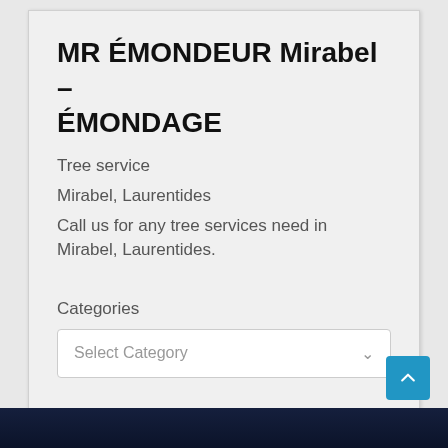MR ÉMONDEUR Mirabel – ÉMONDAGE
Tree service
Mirabel, Laurentides
Call us for any tree services need in Mirabel, Laurentides.
Categories
Select Category